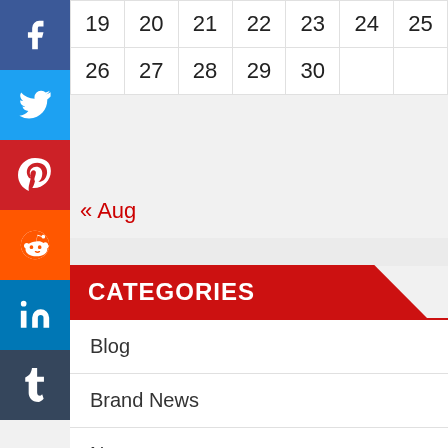| 19 | 20 | 21 | 22 | 23 | 24 | 25 |
| 26 | 27 | 28 | 29 | 30 |  |  |
« Aug
CATEGORIES
Blog
Brand News
News
Post